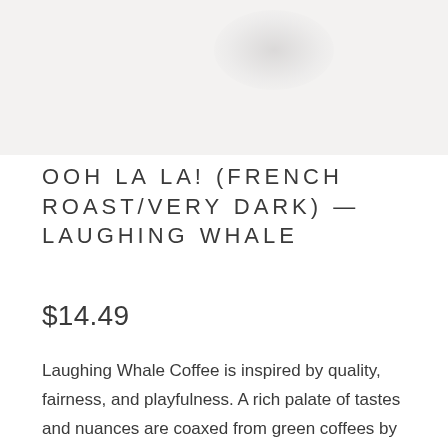[Figure (photo): Product photo area with faint blob/shadow shape on light grey background]
OOH LA LA! (FRENCH ROAST/VERY DARK) — LAUGHING WHALE
$14.49
Laughing Whale Coffee is inspired by quality, fairness, and playfulness. A rich palate of tastes and nuances are coaxed from green coffees by careful roasting and blending. Laughing Whale's beans are small batch roasted using a combination of the